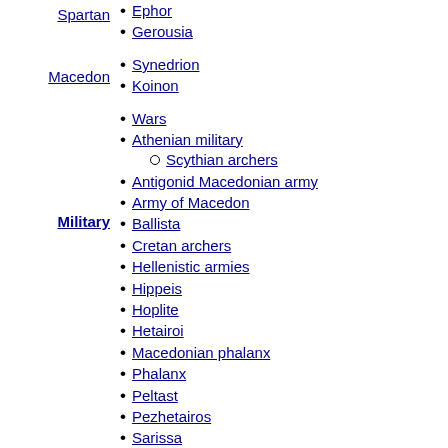Spartan
Ephor
Gerousia
Macedon
Synedrion
Koinon
Military
Wars
Athenian military
Scythian archers
Antigonid Macedonian army
Army of Macedon
Ballista
Cretan archers
Hellenistic armies
Hippeis
Hoplite
Hetairoi
Macedonian phalanx
Phalanx
Peltast
Pezhetairos
Sarissa
Sacred Band of Thebes
Sciritae
Seleucid army